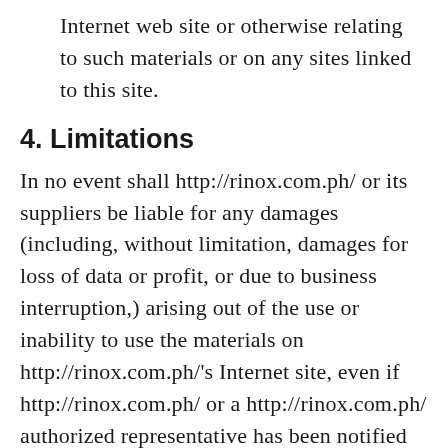Internet web site or otherwise relating to such materials or on any sites linked to this site.
4. Limitations
In no event shall http://rinox.com.ph/ or its suppliers be liable for any damages (including, without limitation, damages for loss of data or profit, or due to business interruption,) arising out of the use or inability to use the materials on http://rinox.com.ph/'s Internet site, even if http://rinox.com.ph/ or a http://rinox.com.ph/ authorized representative has been notified orally or in writing of the possibility of such